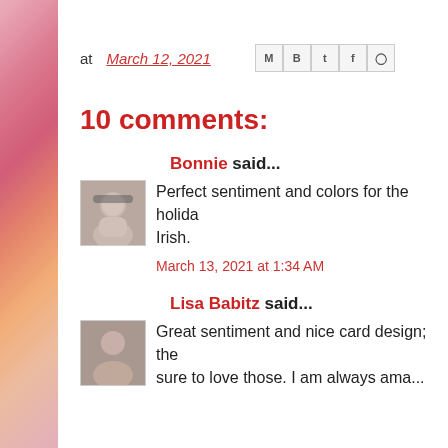at March 12, 2021
10 comments:
Bonnie said...
Perfect sentiment and colors for the holida... Irish.
March 13, 2021 at 1:34 AM
Lisa Babitz said...
Great sentiment and nice card design; the sure to love those. I am always ama...